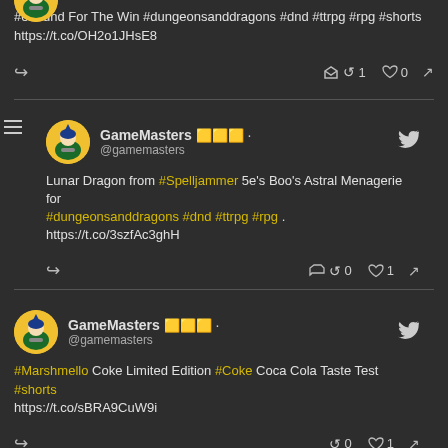#onednd For The Win #dungeonsanddragons #dnd #ttrpg #rpg #shorts https://t.co/OH2o1JHsE8
↩ 1   ♡ 0
GameMasters 🎲🎲🎲 · @gamemasters
Lunar Dragon from #Spelljammer 5e's Boo's Astral Menagerie for #dungeonsanddragons #dnd #ttrpg #rpg . https://t.co/3szfAc3ghH
↩ 0   ♡ 1
GameMasters 🎲🎲🎲 · @gamemasters
#Marshmello Coke Limited Edition #Coke Coca Cola Taste Test #shorts https://t.co/sBRA9CuW9i
↩ 0   ♡ 1
GameMasters 🎲🎲🎲 ·